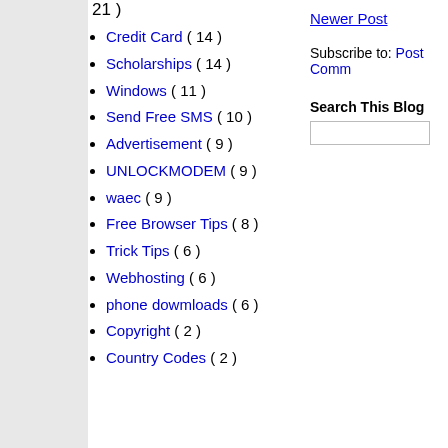21 )
Credit Card ( 14 )
Scholarships ( 14 )
Windows ( 11 )
Send Free SMS ( 10 )
Advertisement ( 9 )
UNLOCKMODEM ( 9 )
waec ( 9 )
Free Browser Tips ( 8 )
Trick Tips ( 6 )
Webhosting ( 6 )
phone dowmloads ( 6 )
Copyright ( 2 )
Country Codes ( 2 )
Newer Post
Subscribe to: Post Comm
Search This Blog